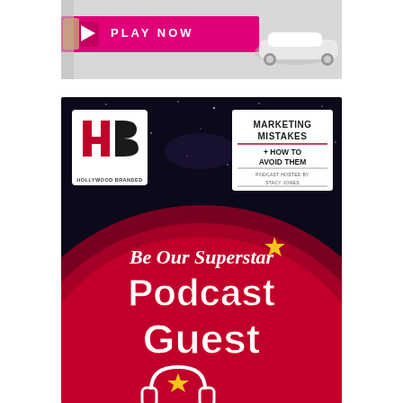[Figure (photo): Top banner advertisement with pink/magenta play button and 'PLAY NOW' text, with a white Cadillac car on a light background]
[Figure (illustration): Hollywood Branded podcast promotional image on dark starry background. HB logo top left, 'MARKETING MISTAKES + HOW TO AVOID THEM PODCAST HOSTED BY STACY JONES' text top right. Large dark red/crimson circular shape with white cursive text 'Be Our Superstar' with gold star, large white bold text 'Podcast Guest', and headphones icon with star at bottom.]